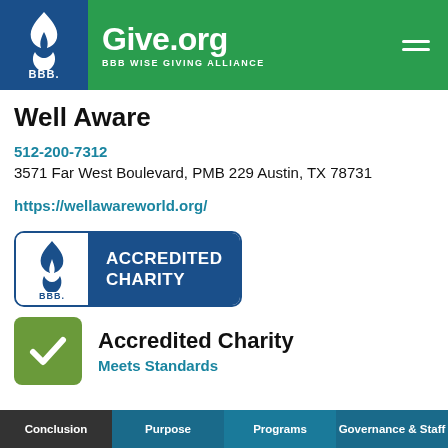Give.org | BBB WISE GIVING ALLIANCE
Well Aware
512-200-7312
3571 Far West Boulevard, PMB 229 Austin, TX 78731
https://wellawareworld.org/
[Figure (logo): BBB Accredited Charity badge with blue shield BBB logo on white left side and dark blue right side with 'ACCREDITED CHARITY' text in white]
[Figure (logo): Green square with white checkmark next to 'Accredited Charity' heading and 'Meets Standards' subtext in teal]
Conclusion | Purpose | Programs | Governance & Staff